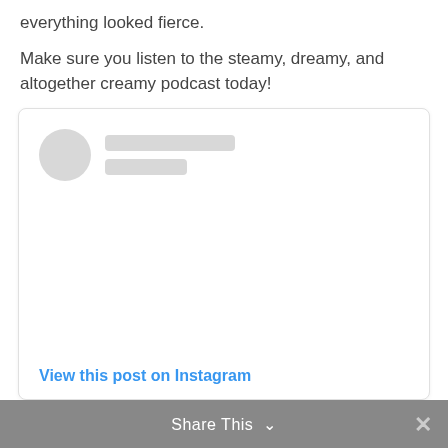everything looked fierce.
Make sure you listen to the steamy, dreamy, and altogether creamy podcast today!
[Figure (screenshot): Instagram post embed card with placeholder avatar circle, two gray placeholder lines for username, and a link reading 'View this post on Instagram']
Share This  ✓  ✕